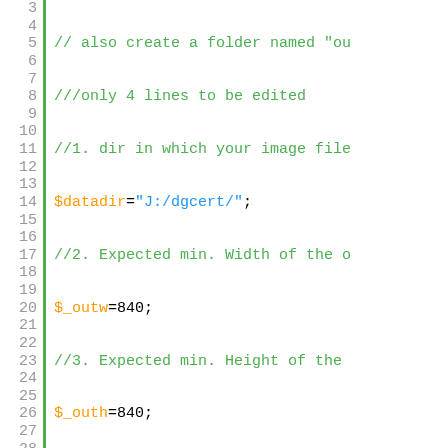[Figure (screenshot): PHP source code snippet with syntax highlighting, showing lines 3-27 of a script. Line numbers in gray on left, green vertical bar separator, colored code tokens on right.]